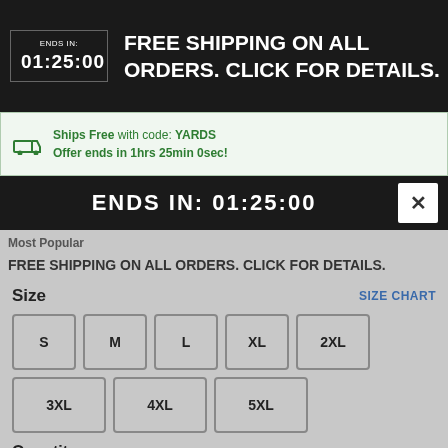ENDS IN: 01:25:00 | FREE SHIPPING ON ALL ORDERS. CLICK FOR DETAILS.
Ships Free with code: YARDS Offer ends in 1hrs 25min 0sec!
ENDS IN: 01:25:00
Most Popular
FREE SHIPPING ON ALL ORDERS. CLICK FOR DETAILS.
Size
SIZE CHART
S M L XL 2XL 3XL 4XL 5XL
Quantity
1
Add to Cart